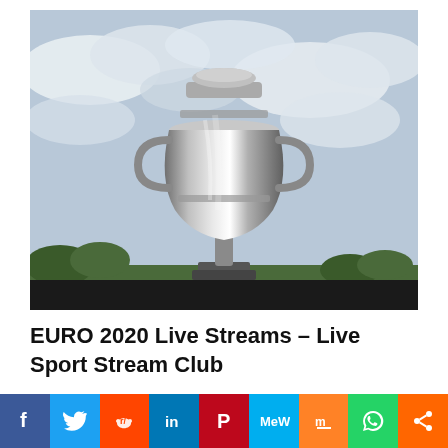[Figure (photo): A silver UEFA European Championship trophy on a reflective surface against a cloudy sky background]
EURO 2020 Live Streams – Live Sport Stream Club
[Figure (infographic): Social media sharing bar with buttons: Facebook, Twitter, Reddit, LinkedIn, Pinterest, MeWe, Mix, WhatsApp, Share]